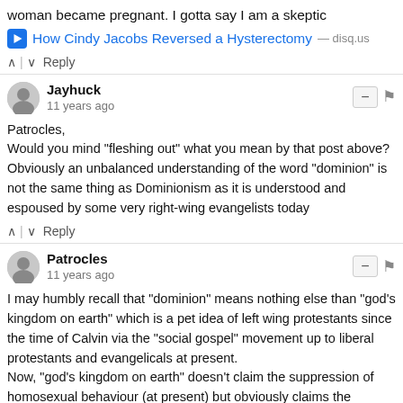woman became pregnant. I gotta say I am a skeptic
How Cindy Jacobs Reversed a Hysterectomy — disq.us
^ | v Reply
Jayhuck
11 years ago
Patrocles,
Would you mind "fleshing out" what you mean by that post above? Obviously an unbalanced understanding of the word "dominion" is not the same thing as Dominionism as it is understood and espoused by some very right-wing evangelists today
^ | v Reply
Patrocles
11 years ago
I may humbly recall that "dominion" means nothing else than "god's kingdom on earth" which is a pet idea of left wing protestants since the time of Calvin via the "social gospel" movement up to liberal protestants and evangelicals at present.
Now, "god's kingdom on earth" doesn't claim the suppression of homosexual behaviour (at present) but obviously claims the suppression of a lot of other things which would be allowed by right wing